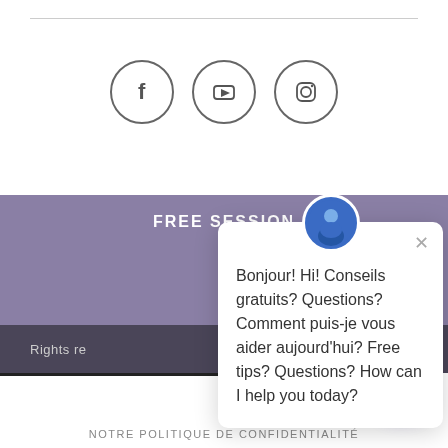[Figure (illustration): Three social media icons in circles: Facebook (f), YouTube (play button), Instagram (camera outline)]
FREE SESSION
Rights re...
[Figure (screenshot): Chat popup with avatar photo of person in blue shirt, close X button, and bilingual message: Bonjour! Hi! Conseils gratuits? Questions? Comment puis-je vous aider aujourd'hui? Free tips? Questions? How can I help you today?]
[Figure (illustration): Purple chat bubble button in bottom right corner]
NOTRE POLITIQUE DE CONFIDENTIALITÉ